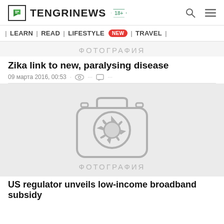TENGRINEWS 18+
| LEARN | READ | LIFESTYLE NEW | TRAVEL |
ФОТОГРАФИЯ
Zika link to new, paralysing disease
09 марта 2016, 00:53
[Figure (photo): Photo placeholder with camera icon and ФОТОГРАФИЯ label]
US regulator unveils low-income broadband subsidy